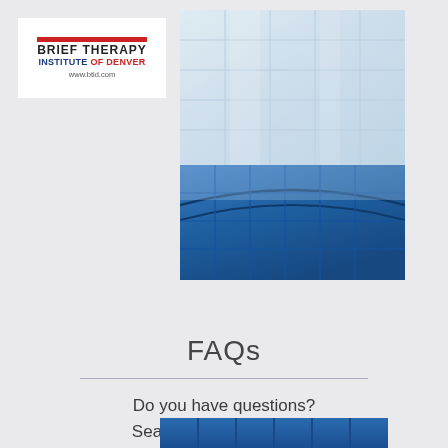[Figure (logo): Brief Therapy Institute of Denver logo with red bar, bold text 'BRIEF THERAPY INSTITUTE OF DENVER' and URL www.btid.com]
[Figure (photo): Glass building facade with light blue/white reflections, upper portion]
[Figure (photo): Glass building facade with deep blue reflections, lower portion]
FAQs
Do you have questions? Search through our FAQ to learn more.
[Figure (photo): Partial view of blue glass building facade, cut off at page bottom]